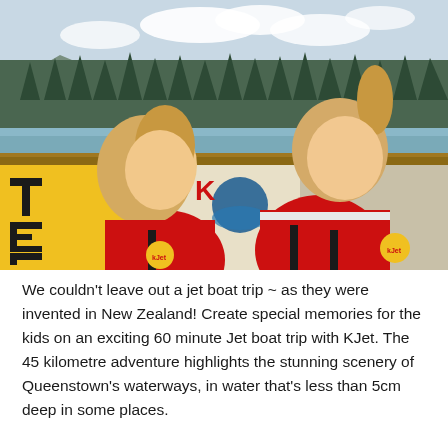[Figure (photo): Two young blonde girls wearing red KJet life vests smiling at the camera, standing in front of yellow KJet signage and a dock/waterway area with trees in the background at Queenstown, New Zealand.]
We couldn't leave out a jet boat trip ~ as they were invented in New Zealand! Create special memories for the kids on an exciting 60 minute Jet boat trip with KJet.  The 45 kilometre adventure highlights the stunning scenery of Queenstown's waterways, in water that's less than 5cm deep in some places.